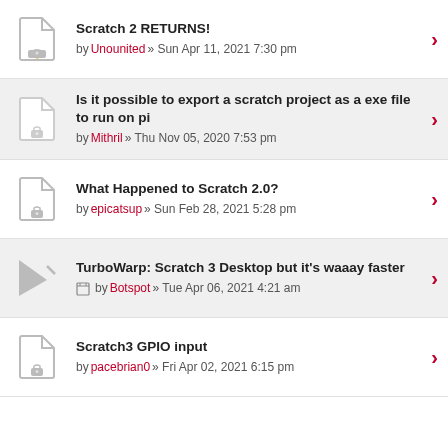Scratch 2 RETURNS! by Unounited » Sun Apr 11, 2021 7:30 pm
Is it possible to export a scratch project as a exe file to run on pi by Mithril » Thu Nov 05, 2020 7:53 pm
What Happened to Scratch 2.0? by epicatsup » Sun Feb 28, 2021 5:28 pm
TurboWarp: Scratch 3 Desktop but it's waaay faster by Botspot » Tue Apr 06, 2021 4:21 am
Scratch3 GPIO input by pacebrian0 » Fri Apr 02, 2021 6:15 pm